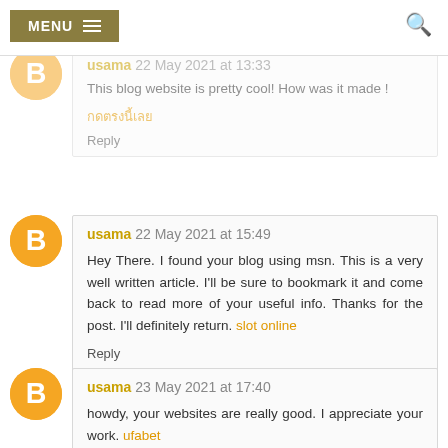MENU (navigation bar with search icon)
Reply
usama 22 May 2021 at 13:33 — This blog website is pretty cool! How was it made !
(Thai/foreign language link text)
Reply
usama 22 May 2021 at 15:49
Hey There. I found your blog using msn. This is a very well written article. I'll be sure to bookmark it and come back to read more of your useful info. Thanks for the post. I'll definitely return. slot online
Reply
usama 23 May 2021 at 17:40
howdy, your websites are really good. I appreciate your work. ufabet
Reply